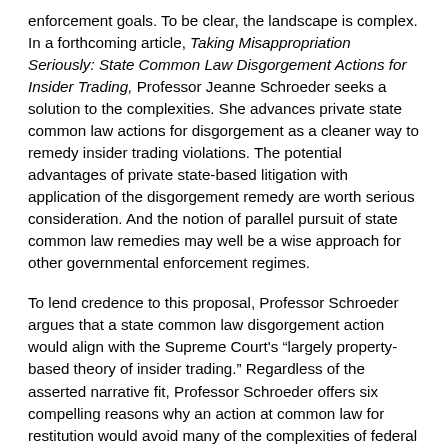enforcement goals. To be clear, the landscape is complex. In a forthcoming article, Taking Misappropriation Seriously: State Common Law Disgorgement Actions for Insider Trading, Professor Jeanne Schroeder seeks a solution to the complexities. She advances private state common law actions for disgorgement as a cleaner way to remedy insider trading violations. The potential advantages of private state-based litigation with application of the disgorgement remedy are worth serious consideration. And the notion of parallel pursuit of state common law remedies may well be a wise approach for other governmental enforcement regimes.
To lend credence to this proposal, Professor Schroeder argues that a state common law disgorgement action would align with the Supreme Court's "largely property-based theory of insider trading." Regardless of the asserted narrative fit, Professor Schroeder offers six compelling reasons why an action at common law for restitution would avoid many of the complexities of federal insider trading enforcement actions. For example, the Supreme Court's insider trading jurisprudence requires fraud, violation of a fiduciary duty, as well as misappropriation of information. Under state-based remedies, these elements would not